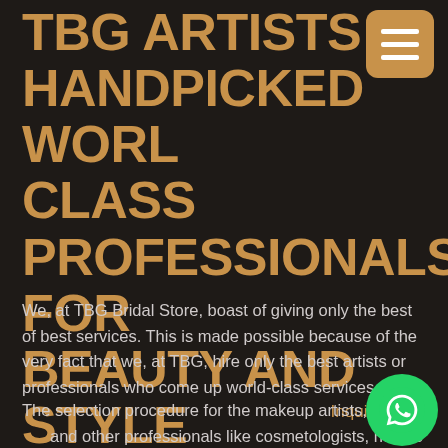TBG ARTISTS: HANDPICKED WORLD CLASS PROFESSIONALS FOR BEAUTY AND STYLE
We, at TBG Bridal Store, boast of giving only the best of best services. This is made possible because of the very fact that we, at TBG, hire only the best artists or professionals who come up world-class services.
Inquire Now:
The selection procedure for the makeup artists, hair stylists and other professionals like cosmetologists, nutritionists, etc., are extremely thorough and rigorous that makes sure